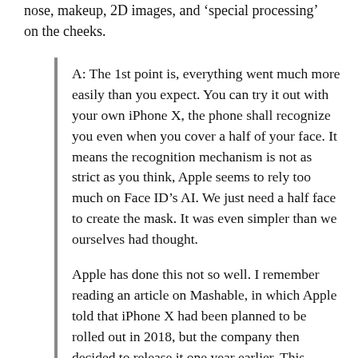nose, makeup, 2D images, and 'special processing' on the cheeks.
A: The 1st point is, everything went much more easily than you expect. You can try it out with your own iPhone X, the phone shall recognize you even when you cover a half of your face. It means the recognition mechanism is not as strict as you think, Apple seems to rely too much on Face ID's AI. We just need a half face to create the mask. It was even simpler than we ourselves had thought.
Apple has done this not so well. I remember reading an article on Mashable, in which Apple told that iPhone X had been planned to be rolled out in 2018, but the company then decided to release it one year earlier. This shows that they haven't carried out scientific and serious estimation before deciding to replace Touch ID with Face ID.